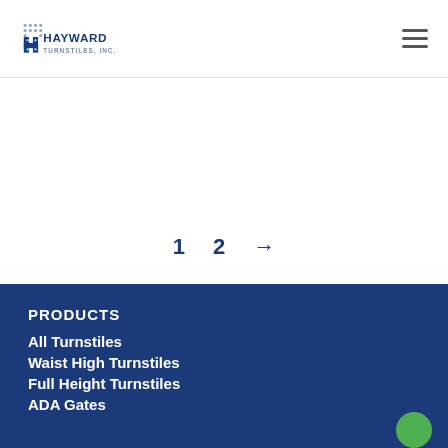Hayward Turnstiles, Inc.
1  2  →
PRODUCTS
All Turnstiles
Waist High Turnstiles
Full Height Turnstiles
ADA Gates